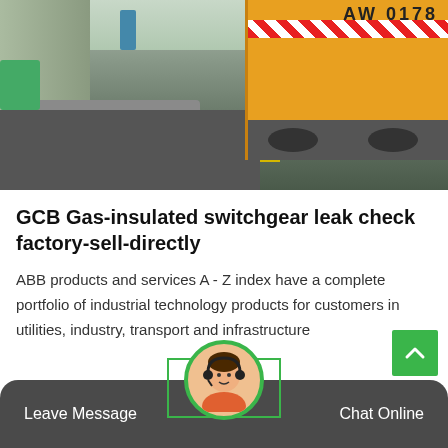[Figure (photo): Outdoor industrial/utility site showing road, gravel area, yellow markings, yellow service truck on the right with warning stripes and number plate reading 'AW 0178', industrial machinery on the left, and a person in the background.]
GCB Gas-insulated switchgear leak check factory-sell-directly
ABB products and services A - Z index have a complete portfolio of industrial technology products for customers in utilities, industry, transport and infrastructure
Leave Message   Chat Online